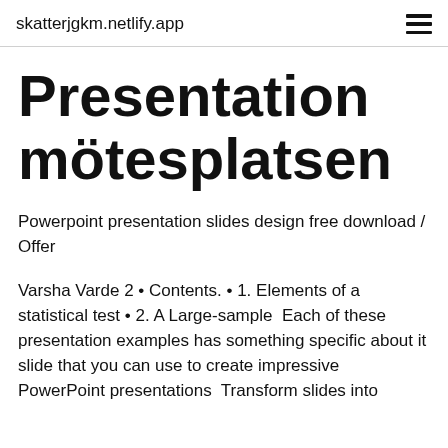skatterjgkm.netlify.app
Presentation mötesplatsen
Powerpoint presentation slides design free download / Offer
Varsha Varde 2 • Contents. • 1. Elements of a statistical test • 2. A Large-sample  Each of these presentation examples has something specific about it slide that you can use to create impressive PowerPoint presentations  Transform slides into